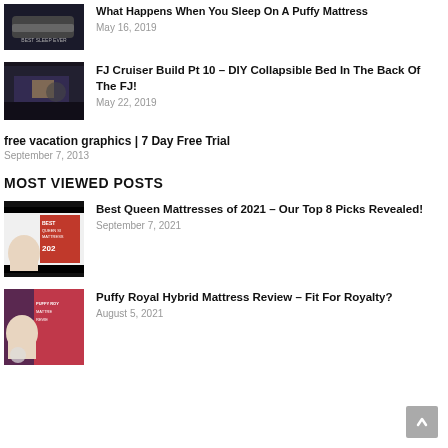[Figure (photo): Thumbnail image of a mattress/bed product with dark background]
What Happens When You Sleep On A Puffy Mattress
May 16, 2019
[Figure (photo): Thumbnail image of FJ Cruiser interior showing DIY collapsible bed build]
FJ Cruiser Build Pt 10 – DIY Collapsible Bed In The Back Of The FJ!
May 22, 2019
free vacation graphics | 7 Day Free Trial
September 7, 2013
MOST VIEWED POSTS
[Figure (photo): Thumbnail for Best Queen Mattresses 2021 article showing woman and text 'BEST QUEEN SIZE MATTRESS 2021']
Best Queen Mattresses of 2021 – Our Top 8 Picks Revealed!
September 7, 2021
[Figure (photo): Thumbnail for Puffy Royal Hybrid Mattress Review showing woman and pink background with text 'PUFFY ROYAL MATTRESS REVIEW']
Puffy Royal Hybrid Mattress Review – Fit For Royalty?
August 5, 2021